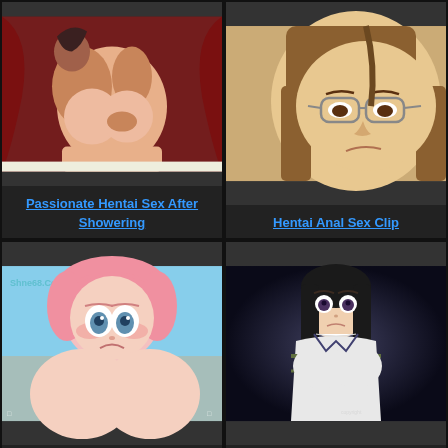[Figure (illustration): Animated hentai illustration - two figures, dark red background]
Passionate Hentai Sex After Showering
[Figure (illustration): Animated hentai illustration - female character with glasses, close-up face]
Hentai Anal Sex Clip
[Figure (illustration): Animated hentai illustration - pink-haired female character, blue sky background, watermark Shne68.Com]
Sex Anime One Piece
[Figure (illustration): Animated hentai illustration - dark-haired female character in white clothing, dark background]
Hentai Anime Virgin BDSM
[Figure (illustration): Animated hentai illustration - blonde and dark-haired characters, partial view]
[Figure (illustration): Animated hentai illustration - dark-haired and other characters, partial view]